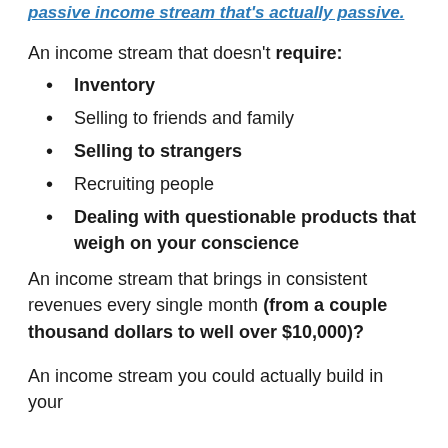passive income stream that's actually passive.
An income stream that doesn't require:
Inventory
Selling to friends and family
Selling to strangers
Recruiting people
Dealing with questionable products that weigh on your conscience
An income stream that brings in consistent revenues every single month (from a couple thousand dollars to well over $10,000)?
An income stream you could actually build in your